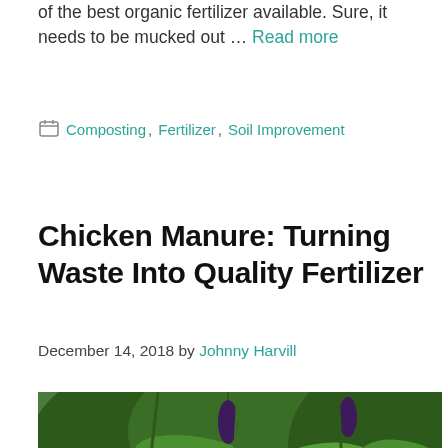of the best organic fertilizer available. Sure, it needs to be mucked out … Read more
Composting, Fertilizer, Soil Improvement
Chicken Manure: Turning Waste Into Quality Fertilizer
December 14, 2018 by Johnny Harvill
[Figure (photo): A chicken in a lush green garden with large leafy plants and hanging vegetables such as eggplant, partially faded at the bottom.]